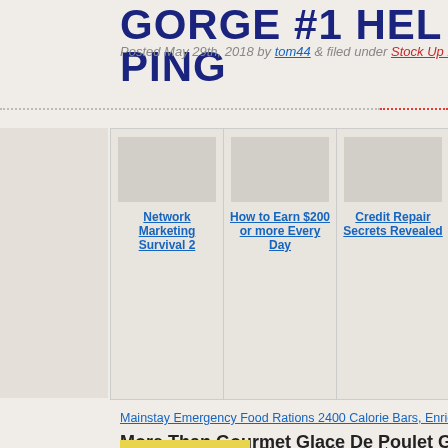GORGE #1 HELPING
Posted May 29th, 2018 by tom44 & filed under Stock Up Food.
[Figure (other): Advertisement banner area with dotted border separator and three ad columns: Network Marketing Survival 2, How to Earn $200 or more Every Day, Credit Repair Secrets Revealed]
Mainstay Emergency Food Rations 2400 Calorie Bars, Enriched
More Than Gourmet Glace De Poulet Gold, Roasted Ch
Gluten free. All natural, no chemicals